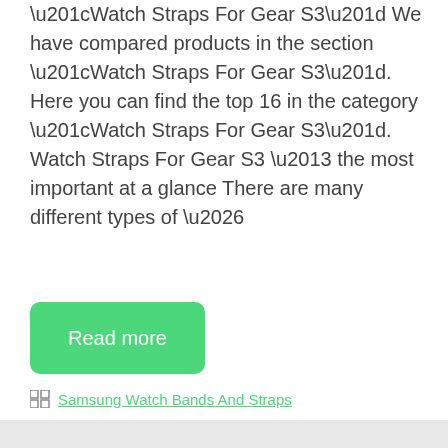“Watch Straps For Gear S3” We have compared products in the section “Watch Straps For Gear S3”. Here you can find the top 16 in the category “Watch Straps For Gear S3”. Watch Straps For Gear S3 – the most important at a glance There are many different types of …
Read more
Samsung Watch Bands And Straps